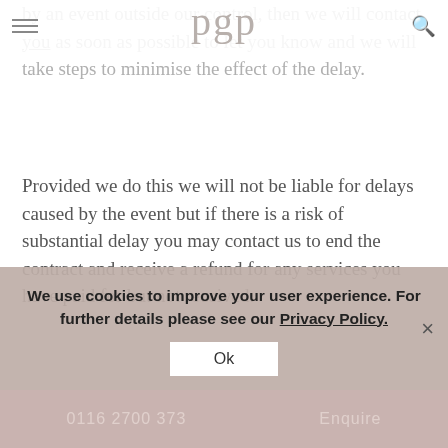pgp
by an event outside our control, then we will contact you as soon as possible to let you know and we will take steps to minimise the effect of the delay.
Provided we do this we will not be liable for delays caused by the event but if there is a risk of substantial delay you may contact us to end the contract and receive a refund for any services you have paid for but not received.
3.11 Reasons we may suspend the services.
We may have to suspend the services to reflect changes in relevant laws and regulatory requirements or make changes to the services as requested by you, or b
We use cookies to improve your user experience. For further details please see our Privacy Policy.
0116 2700 373   Enquire